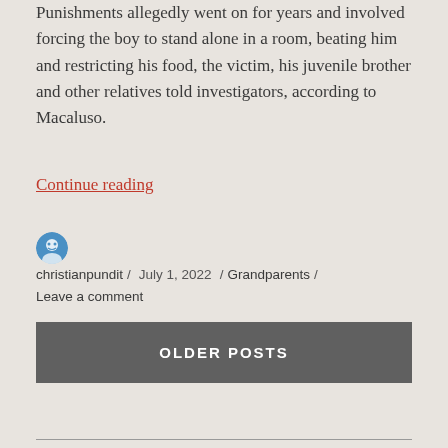Punishments allegedly went on for years and involved forcing the boy to stand alone in a room, beating him and restricting his food, the victim, his juvenile brother and other relatives told investigators, according to Macaluso.
Continue reading
christianpundit / July 1, 2022 / Grandparents / Leave a comment
OLDER POSTS